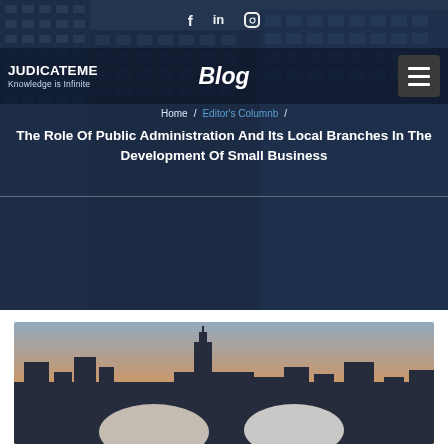[Figure (photo): City skyscrapers with glass facades forming the hero background]
f  in  [instagram icon]
JUDICATEME
Knowledge is Infinite
Blog
Home / Editor's Columnb /
The Role Of Public Administration And Its Local Branches In The Development Of Small Business
[Figure (photo): Two businessmen shaking hands against a city skyline with the Empire State Building at sunset]